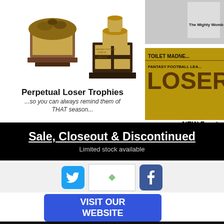[Figure (photo): Two perpetual loser trophies — a brown trophy with gold plate and a toilet bowl champion trophy on dark pedestal with engraving plates]
Perpetual Loser Trophies
...so you can always remind them of THAT season...
[Figure (photo): Right side product images: top shows 'The Mighty Womb...' plaque and bottom shows gold plate reading 'TOILET MADNE... FANTASY FOOTBALL LEA... LOSER...']
NEW Front...
Looking to recognize... Start the walk of sh... fr...
Sale, Closeout & Discontinued
Limited stock available
[Figure (logo): Twitter bird logo button (blue rounded square)]
[Figure (photo): Small image placeholder with leaf icon]
[Figure (logo): Facebook logo button (blue rounded square, partially visible)]
[Figure (other): Blue 'VISIT OUR WEBSITE' button]